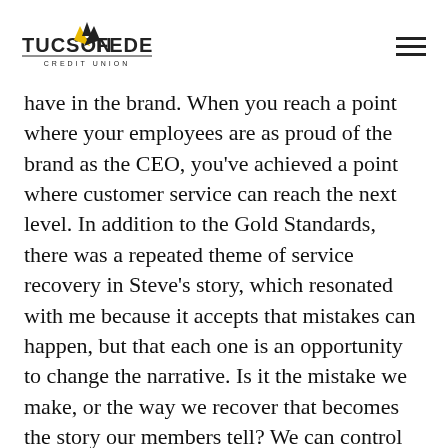TUCSON FEDERAL CREDIT UNION
have in the brand. When you reach a point where your employees are as proud of the brand as the CEO, you've achieved a point where customer service can reach the next level. In addition to the Gold Standards, there was a repeated theme of service recovery in Steve's story, which resonated with me because it accepts that mistakes can happen, but that each one is an opportunity to change the narrative. Is it the mistake we make, or the way we recover that becomes the story our members tell? We can control that narrative, but it takes intentionality, development and trust.